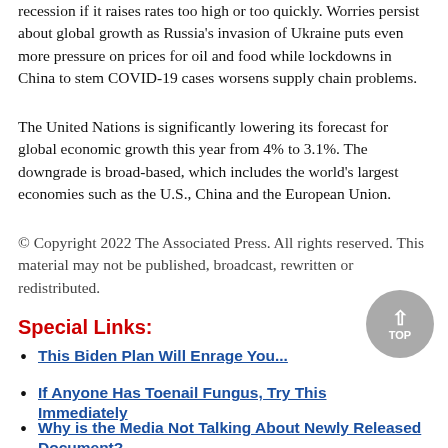recession if it raises rates too high or too quickly. Worries persist about global growth as Russia's invasion of Ukraine puts even more pressure on prices for oil and food while lockdowns in China to stem COVID-19 cases worsens supply chain problems.
The United Nations is significantly lowering its forecast for global economic growth this year from 4% to 3.1%. The downgrade is broad-based, which includes the world's largest economies such as the U.S., China and the European Union.
© Copyright 2022 The Associated Press. All rights reserved. This material may not be published, broadcast, rewritten or redistributed.
Special Links:
This Biden Plan Will Enrage You...
If Anyone Has Toenail Fungus, Try This Immediately
Why is the Media Not Talking About Newly Released Document?